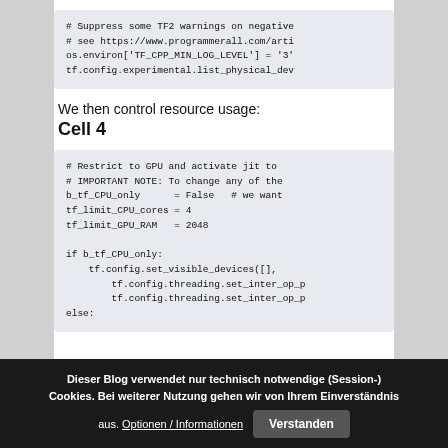# Suppress some TF2 warnings on negative
# see https://www.programmerall.com/arti
os.environ['TF_CPP_MIN_LOG_LEVEL'] = '3'
tf.config.experimental.list_physical_dev
We then control resource usage:
Cell 4
# Restrict to GPU and activate jit to
# IMPORTANT NOTE: To change any of the
b_tf_CPU_only      = False   # we want
tf_limit_CPU_cores = 4
tf_limit_GPU_RAM   = 2048

if b_tf_CPU_only:
    tf.config.set_visible_devices([],
        tf.config.threading.set_inter_op_p
        tf.config.threading.set_inter_op_p
else:
Dieser Blog verwendet nur technisch notwendige (Session-) Cookies. Bei weiterer Nutzung gehen wir von Ihrem Einverständnis aus. Optionen / Informationen   Verstanden